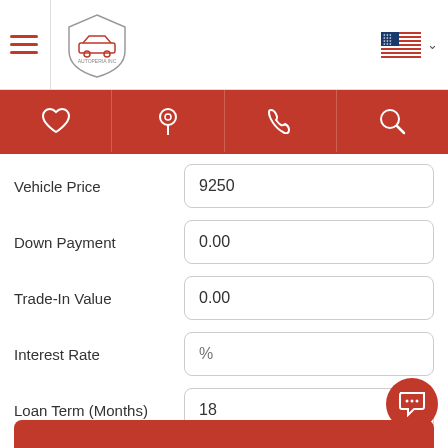[Figure (screenshot): Autoperia Inc. car dealership app header with hamburger menu, logo, and US flag language selector]
[Figure (infographic): Red icon bar with heart (favorites), location pin, phone, and search icons]
Vehicle Price
9250
Down Payment
0.00
Trade-In Value
0.00
Interest Rate
%
Loan Term (Months)
18